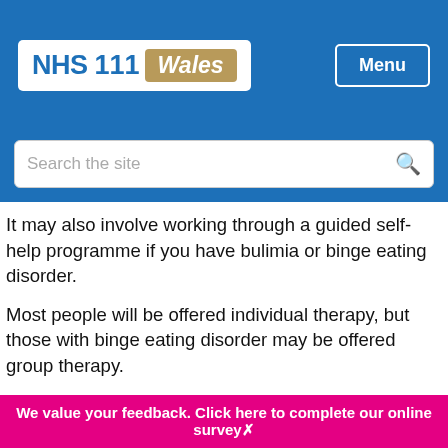[Figure (logo): NHS 111 Wales logo in header, white background with blue NHS 111 text and gold Wales badge]
It may also involve working through a guided self-help programme if you have bulimia or binge eating disorder.
Most people will be offered individual therapy, but those with binge eating disorder may be offered group therapy.
Treatment for other specified feeding or eating disorder (OSFED) will depend on the type of eating disorder your symptoms are most like.
For example, if your symptoms are most like anorexia, your treatment will be similar to the treatment for anorexia.
We value your feedback. Click here to complete our online survey✕